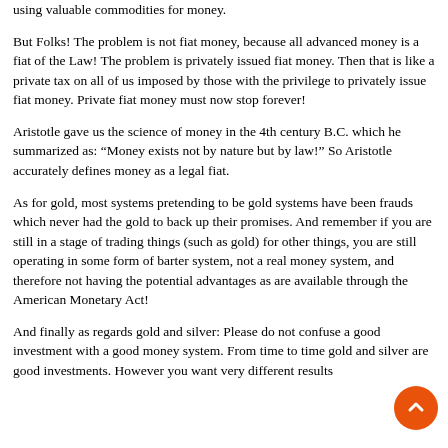using valuable commodities for money.
But Folks! The problem is not fiat money, because all advanced money is a fiat of the Law! The problem is privately issued fiat money. Then that is like a private tax on all of us imposed by those with the privilege to privately issue fiat money. Private fiat money must now stop forever!
Aristotle gave us the science of money in the 4th century B.C. which he summarized as: “Money exists not by nature but by law!” So Aristotle accurately defines money as a legal fiat.
As for gold, most systems pretending to be gold systems have been frauds which never had the gold to back up their promises. And remember if you are still in a stage of trading things (such as gold) for other things, you are still operating in some form of barter system, not a real money system, and therefore not having the potential advantages as are available through the American Monetary Act!
And finally as regards gold and silver: Please do not confuse a good investment with a good money system. From time to time gold and silver are good investments. However you want very different results